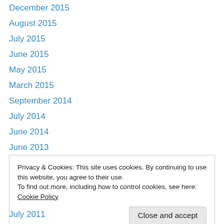December 2015
August 2015
July 2015
June 2015
May 2015
March 2015
September 2014
July 2014
June 2014
June 2013
May 2013
April 2013
December 2012
Privacy & Cookies: This site uses cookies. By continuing to use this website, you agree to their use.
To find out more, including how to control cookies, see here: Cookie Policy
July 2011